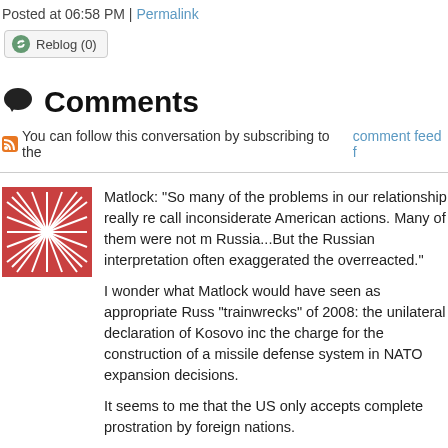Posted at 06:58 PM | Permalink
Reblog (0)
Comments
You can follow this conversation by subscribing to the comment feed f
Matlock: "So many of the problems in our relationship really re call inconsiderate American actions. Many of them were not m Russia...But the Russian interpretation often exaggerated the overreacted."

I wonder what Matlock would have seen as appropriate Russ "trainwrecks" of 2008: the unilateral declaration of Kosovo inc the charge for the construction of a missile defense system in NATO expansion decisions.

It seems to me that the US only accepts complete prostration by foreign nations.
Posted by: ess emm | 21 April 2014 at 08:55 PM